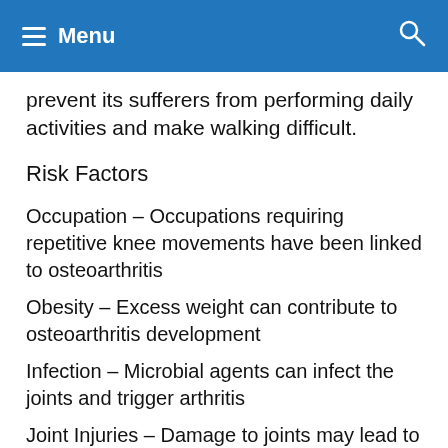Menu
prevent its sufferers from performing daily activities and make walking difficult.
Risk Factors
Occupation – Occupations requiring repetitive knee movements have been linked to osteoarthritis
Obesity – Excess weight can contribute to osteoarthritis development
Infection – Microbial agents can infect the joints and trigger arthritis
Joint Injuries – Damage to joints may lead to osteoarthritis
Age – Risk increases with age